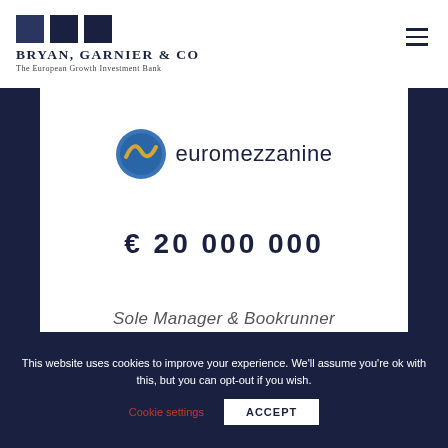[Figure (logo): Bryan, Garnier & Co logo with three dark navy squares and company name and tagline 'The European Growth Investment Bank']
[Figure (logo): euromezzanine logo with blue circle icon and text 'euromezzanine']
€ 20 000 000
Sole Manager & Bookrunner
This website uses cookies to improve your experience. We'll assume you're ok with this, but you can opt-out if you wish.
Cookie settings
ACCEPT